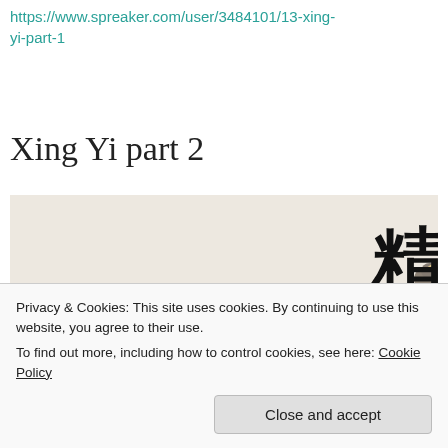https://www.spreaker.com/user/3484101/13-xing-yi-part-1
Xing Yi part 2
[Figure (illustration): Traditional Chinese painting showing figures in historical dress with large Chinese calligraphy characters on the right side]
Privacy & Cookies: This site uses cookies. By continuing to use this website, you agree to their use.
To find out more, including how to control cookies, see here: Cookie Policy
Close and accept